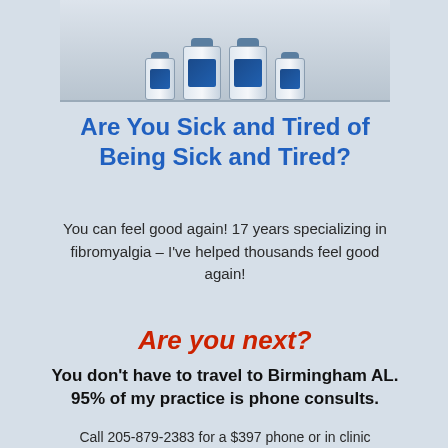[Figure (photo): Product bottles/containers arranged together, partially visible at top of page]
Are You Sick and Tired of Being Sick and Tired?
You can feel good again! 17 years specializing in fibromyalgia – I've helped thousands feel good again!
Are you next?
You don't have to travel to Birmingham AL. 95% of my practice is phone consults.
Call 205-879-2383 for a $397 phone or in clinic